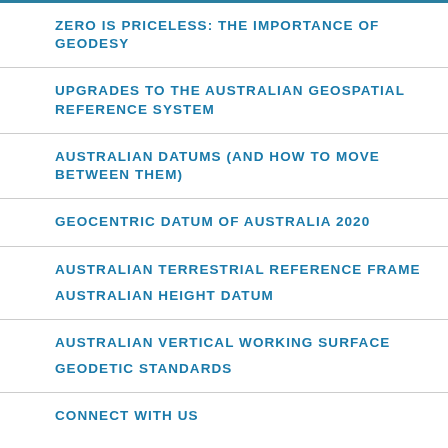ZERO IS PRICELESS: THE IMPORTANCE OF GEODESY
UPGRADES TO THE AUSTRALIAN GEOSPATIAL REFERENCE SYSTEM
AUSTRALIAN DATUMS (AND HOW TO MOVE BETWEEN THEM)
GEOCENTRIC DATUM OF AUSTRALIA 2020
AUSTRALIAN TERRESTRIAL REFERENCE FRAME
AUSTRALIAN HEIGHT DATUM
AUSTRALIAN VERTICAL WORKING SURFACE
GEODETIC STANDARDS
CONNECT WITH US